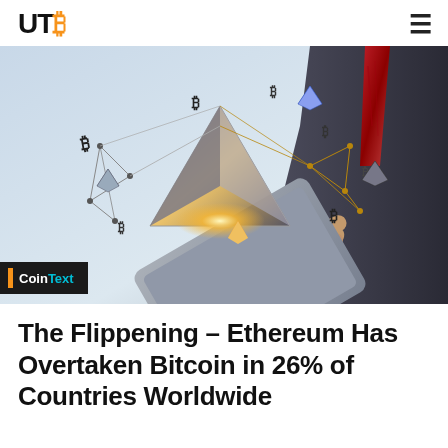UTB
[Figure (photo): A businessman in a suit holding a tablet, with floating cryptocurrency symbols (Bitcoin and Ethereum logos) connected in a glowing network. A CoinText logo badge appears in the lower left corner.]
The Flippening – Ethereum Has Overtaken Bitcoin in 26% of Countries Worldwide